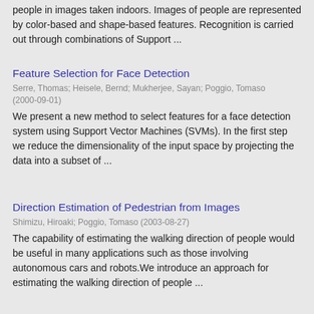people in images taken indoors. Images of people are represented by color-based and shape-based features. Recognition is carried out through combinations of Support ...
Feature Selection for Face Detection
Serre, Thomas; Heisele, Bernd; Mukherjee, Sayan; Poggio, Tomaso (2000-09-01)
We present a new method to select features for a face detection system using Support Vector Machines (SVMs). In the first step we reduce the dimensionality of the input space by projecting the data into a subset of ...
Direction Estimation of Pedestrian from Images
Shimizu, Hiroaki; Poggio, Tomaso (2003-08-27)
The capability of estimating the walking direction of people would be useful in many applications such as those involving autonomous cars and robots.We introduce an approach for estimating the walking direction of people ...